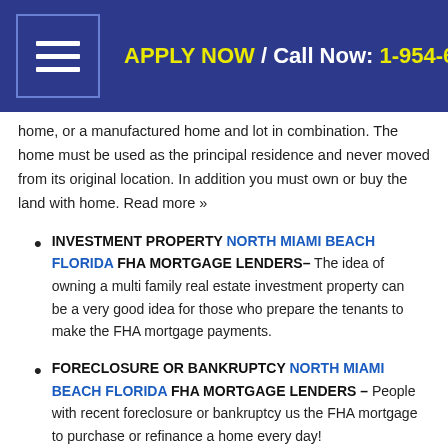APPLY NOW / Call Now: 1-954-667-9110
home, or a manufactured home and lot in combination. The home must be used as the principal residence and never moved from its original location. In addition you must own or buy the land with home. Read more »
INVESTMENT PROPERTY NORTH MIAMI BEACH FLORIDA FHA MORTGAGE LENDERS– The idea of owning a multi family real estate investment property can be a very good idea for those who prepare the tenants to make the FHA mortgage payments.
FORECLOSURE OR BANKRUPTCY NORTH MIAMI BEACH FLORIDA FHA MORTGAGE LENDERS – People with recent foreclosure or bankruptcy us the FHA mortgage to purchase or refinance a home every day!